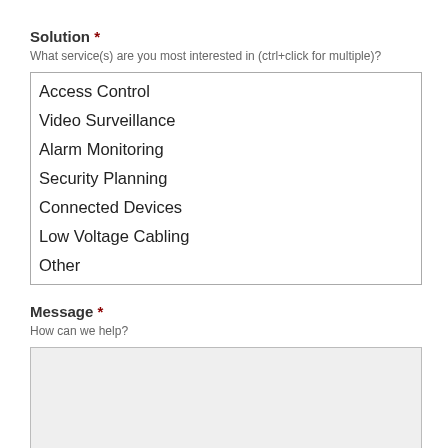Solution *
What service(s) are you most interested in (ctrl+click for multiple)?
Access Control
Video Surveillance
Alarm Monitoring
Security Planning
Connected Devices
Low Voltage Cabling
Other
Message *
How can we help?